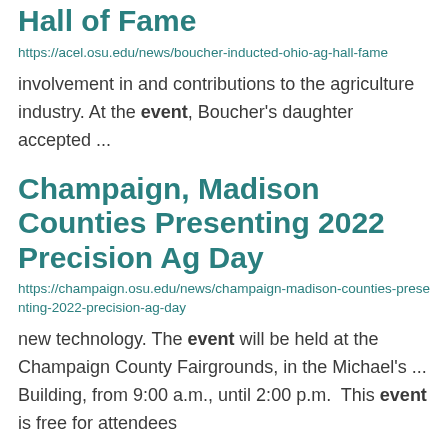Hall of Fame
https://acel.osu.edu/news/boucher-inducted-ohio-ag-hall-fame
involvement in and contributions to the agriculture industry. At the event, Boucher's daughter accepted ...
Champaign, Madison Counties Presenting 2022 Precision Ag Day
https://champaign.osu.edu/news/champaign-madison-counties-presenting-2022-precision-ag-day
new technology. The event will be held at the Champaign County Fairgrounds, in the Michael's ... Building, from 9:00 a.m., until 2:00 p.m.  This event is free for attendees